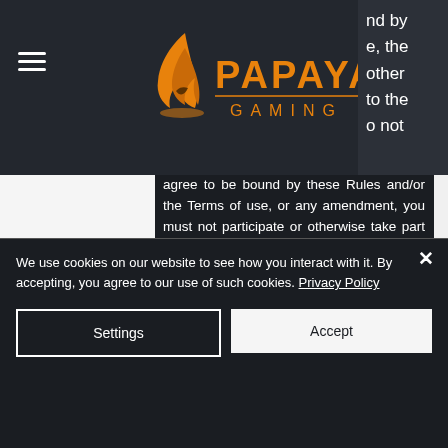[Figure (logo): Papaya Gaming logo with orange flame icon and orange text reading PAPAYA GAMING]
nd by e, the other to the o not agree to be bound by these Rules and/or the Terms of use, or any amendment, you must not participate or otherwise take part in any Promotion and/or to withdraw and discontinue your participation in a Promotion.
1. Eligibility
Eligibility criteria must be met: (i) right to...
We use cookies on our website to see how you interact with it. By accepting, you agree to our use of such cookies. Privacy Policy
Settings
Accept